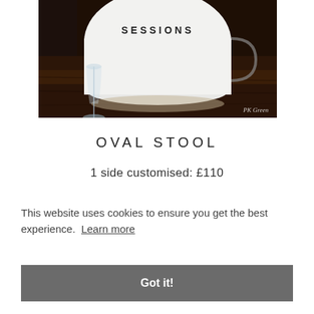[Figure (photo): Photo of a white oval stool/mug with 'SESSIONS' printed on it, a champagne flute beside it, on a dark wooden surface. Watermark 'PK Green' in bottom right.]
OVAL STOOL
1 side customised: £110
This website uses cookies to ensure you get the best experience.  Learn more
Got it!